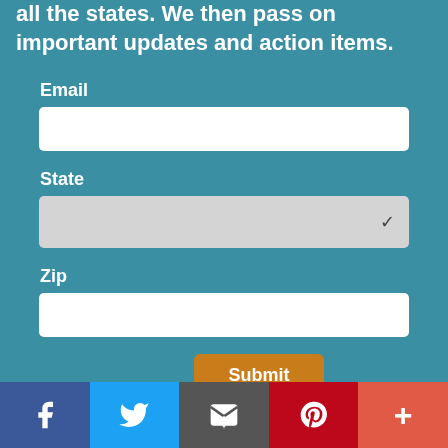all the states. We then pass on important updates and action items.
Email
State
Zip
Submit